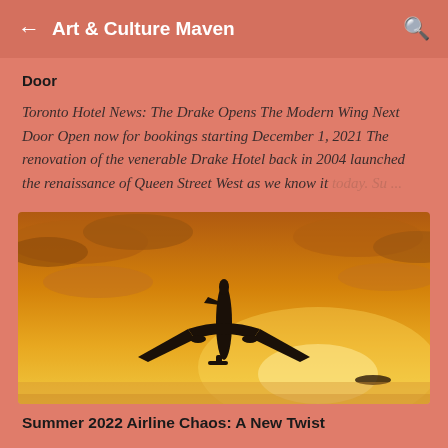Art & Culture Maven
Door
Toronto Hotel News: The Drake Opens The Modern Wing Next Door Open now for bookings starting December 1, 2021 The renovation of the venerable Drake Hotel back in 2004 launched the renaissance of Queen Street West as we know it today. Su...
[Figure (photo): Silhouette of an airplane flying against a dramatic golden-orange sunset sky with clouds]
Summer 2022 Airline Chaos: A New Twist